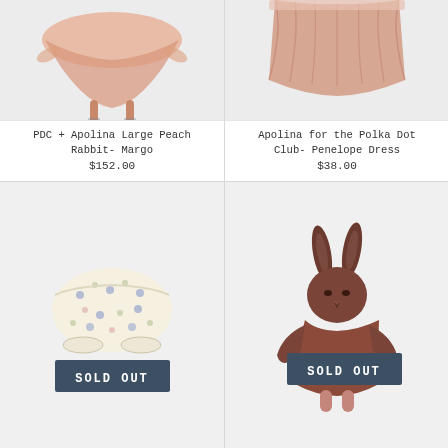[Figure (photo): Peach fabric rabbit doll (Margo) viewed from below, showing skirt and legs on light grey background]
PDC + Apolina Large Peach Rabbit- Margo
$152.00
[Figure (photo): Pink ruched skirt/dress (Penelope Dress) on light grey background, cropped view]
Apolina for the Polka Dot Club- Penelope Dress
$38.00
[Figure (photo): Floral patterned baby bloomers/shorts on light grey background with SOLD OUT overlay badge]
[Figure (photo): Brown plush rabbit doll wearing a rust-colored dress on light grey background with SOLD OUT overlay badge]